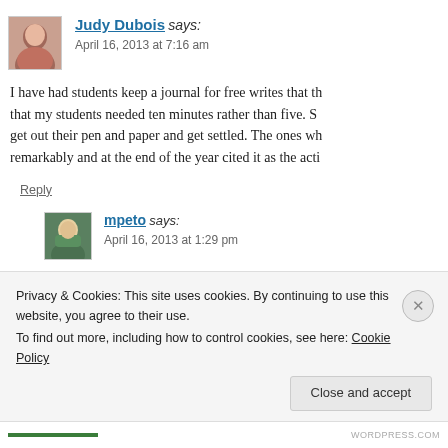Judy Dubois says:
April 16, 2013 at 7:16 am
I have had students keep a journal for free writes that th... that my students needed ten minutes rather than five. S... get out their pen and paper and get settled. The ones wh... remarkably and at the end of the year cited it as the acti...
Reply
mpeto says:
April 16, 2013 at 1:29 pm
Judy- Do you read the student journals comple...
Privacy & Cookies: This site uses cookies. By continuing to use this website, you agree to their use.
To find out more, including how to control cookies, see here: Cookie Policy
Close and accept